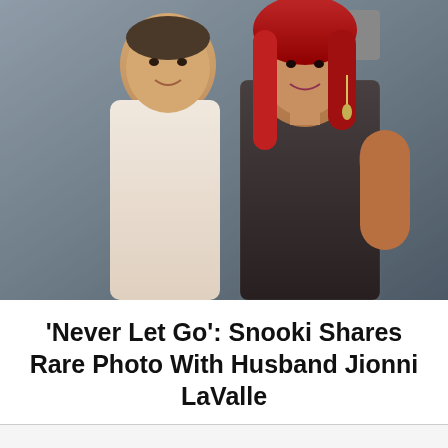[Figure (photo): A couple posing together — a man in a white shirt on the left and a woman with long red hair wearing a glittery dark halter dress on the right, in front of a grey stone-textured backdrop.]
'Never Let Go': Snooki Shares Rare Photo With Husband Jionni LaValle
[Figure (infographic): Advertisement banner: '$1 AN ISSUE — SUBSCRIBE NOW' with Us Weekly magazine covers shown.]